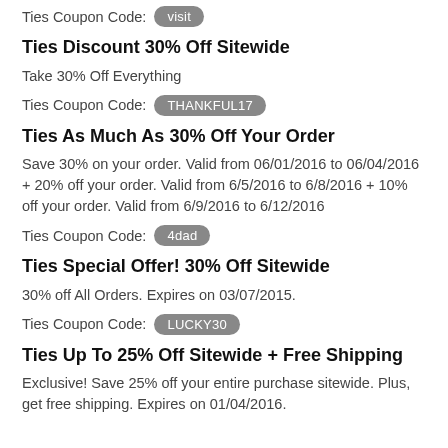Ties Coupon Code: visit
Ties Discount 30% Off Sitewide
Take 30% Off Everything
Ties Coupon Code: THANKFUL17
Ties As Much As 30% Off Your Order
Save 30% on your order. Valid from 06/01/2016 to 06/04/2016 + 20% off your order. Valid from 6/5/2016 to 6/8/2016 + 10% off your order. Valid from 6/9/2016 to 6/12/2016
Ties Coupon Code: 4dad
Ties Special Offer! 30% Off Sitewide
30% off All Orders. Expires on 03/07/2015.
Ties Coupon Code: LUCKY30
Ties Up To 25% Off Sitewide + Free Shipping
Exclusive! Save 25% off your entire purchase sitewide. Plus, get free shipping. Expires on 01/04/2016.